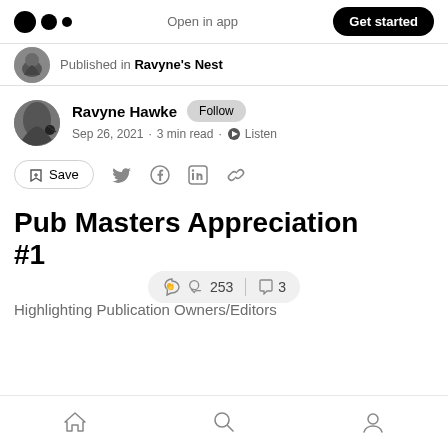Open in app | Get started
Published in Ravyne's Nest
Ravyne Hawke · Follow · Sep 26, 2021 · 3 min read · Listen
Save
Pub Masters Appreciation #1
253 claps | 3 comments
Highlighting Publication Owners/Editors
Home | Search | Profile